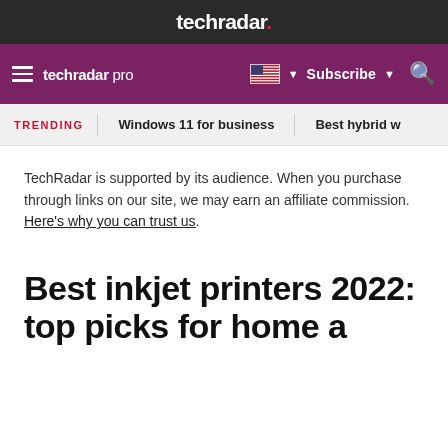techradar.
techradar pro  Subscribe
TRENDING  Windows 11 for business  Best hybrid w
TechRadar is supported by its audience. When you purchase through links on our site, we may earn an affiliate commission. Here’s why you can trust us.
Best inkjet printers 2022: top picks for home and offic…